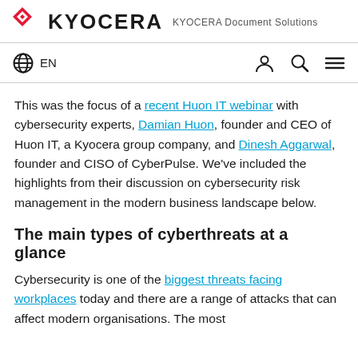KYOCERA Document Solutions
EN
This was the focus of a recent Huon IT webinar with cybersecurity experts, Damian Huon, founder and CEO of Huon IT, a Kyocera group company, and Dinesh Aggarwal, founder and CISO of CyberPulse. We've included the highlights from their discussion on cybersecurity risk management in the modern business landscape below.
The main types of cyberthreats at a glance
Cybersecurity is one of the biggest threats facing workplaces today and there are a range of attacks that can affect modern organisations. The most